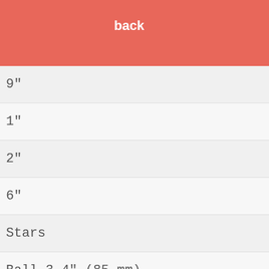back
9"
1"
2"
6"
Stars
Ball 3.4" (85 mm)
Ball 3.54" (90 mm)
Ball 3.74" (95 mm)
ing our ies.